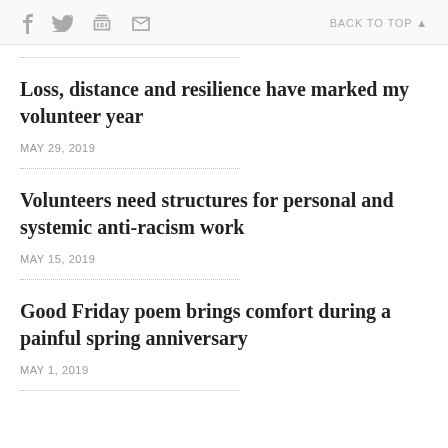f [twitter] [print] [mail]   BACK TO TOP ▲
Loss, distance and resilience have marked my volunteer year
MAY 29, 2019
Volunteers need structures for personal and systemic anti-racism work
MAY 15, 2019
Good Friday poem brings comfort during a painful spring anniversary
MAY 1, 2019